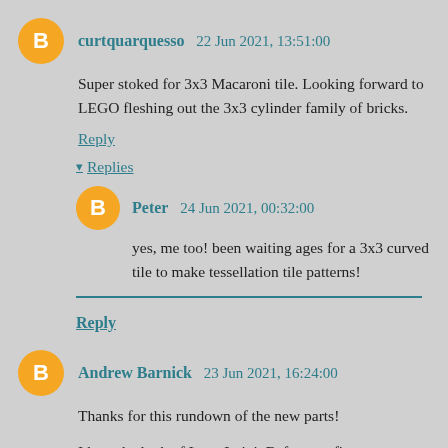curtquarquesso  22 Jun 2021, 13:51:00
Super stoked for 3x3 Macaroni tile. Looking forward to LEGO fleshing out the 3x3 cylinder family of bricks.
Reply
Replies
Peter  24 Jun 2021, 00:32:00
yes, me too! been waiting ages for a 3x3 curved tile to make tessellation tile patterns!
Reply
Andrew Barnick  23 Jun 2021, 16:24:00
Thanks for this rundown of the new parts!
I love the look of Lego Luigi. Before we first saw pictures of him I would have probably expected him to be largely the same as